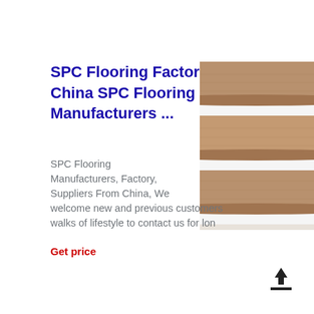SPC Flooring Factory | China SPC Flooring Manufacturers ...
[Figure (photo): Photo of wooden stair treads with light brown wood-look SPC flooring installed on white stairs]
SPC Flooring Manufacturers, Factory, Suppliers From China, We welcome new and previous customers from all walks of lifestyle to contact us for lon
Get price